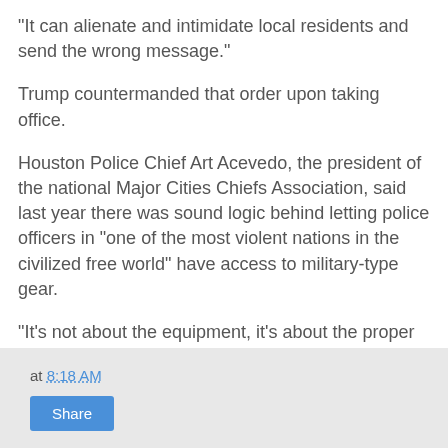“It can alienate and intimidate local residents and send the wrong message.”
Trump countermanded that order upon taking office.
Houston Police Chief Art Acevedo, the president of the national Major Cities Chiefs Association, said last year there was sound logic behind letting police officers in “one of the most violent nations in the civilized free world” have access to military-type gear.
“It’s not about the equipment, it’s about the proper policy for its use,” Acevedo said.
“Everybody needs to take a deep breath and stop using their emotion and stop painting these issues with broad brushes.”
at 8:18 AM  Share